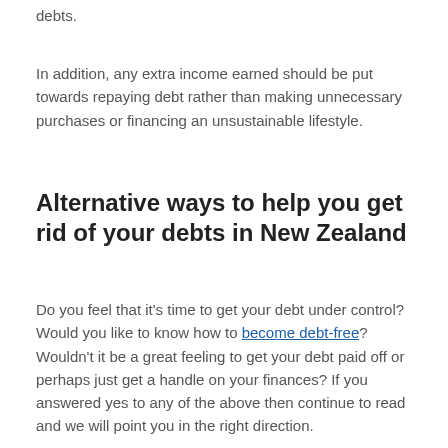debts.
In addition, any extra income earned should be put towards repaying debt rather than making unnecessary purchases or financing an unsustainable lifestyle.
Alternative ways to help you get rid of your debts in New Zealand
Do you feel that it's time to get your debt under control? Would you like to know how to become debt-free? Wouldn't it be a great feeling to get your debt paid off or perhaps just get a handle on your finances? If you answered yes to any of the above then continue to read and we will point you in the right direction.